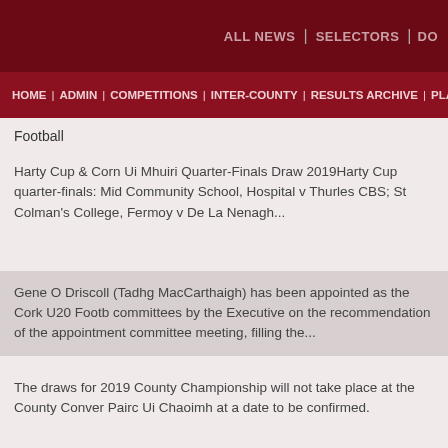ALL NEWS | SELECTORS | DO...
HOME | ADMIN | COMPETITIONS | INTER-COUNTY | RESULTS ARCHIVE | PLA...
Football
Harty Cup & Corn Ui Mhuiri Quarter-Finals Draw 2019Harty Cup quarter-finals: Mid Community School, Hospital v Thurles CBS; St Colman's College, Fermoy v De La Nenagh...
Gene O Driscoll (Tadhg MacCarthaigh) has been appointed as the Cork U20 Footb committees by the Executive on the recommendation of the appointment committee meeting, filling the...
The draws for 2019 County Championship will not take place at the County Conver Pairc Ui Chaoimh at a date to be confirmed.